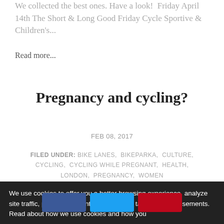We collected the best ones. Have a look! Friday April 14th The Short & Long Good Friday Cycle Sportive & Children's...
Read more...
Pregnancy and cycling?
FEB 08, 2017
FILED UNDER: BIKE LANES, BIKEPARKA, CULTURE, CYCLING, CYCLING WHILE PREGNANT, HEALTH, LONDON, PREGNANCY, WOMEN
We use cookies to offer you a better browsing experience, analyze site traffic, personalize content, and serve targeted advertisements. Read about how we use cookies and how you